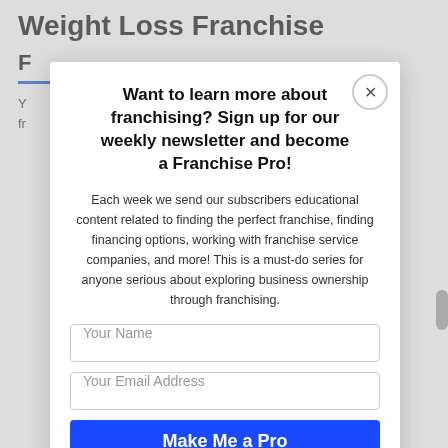Weight Loss Franchise
Y... s
fr...
Want to learn more about franchising? Sign up for our weekly newsletter and become a Franchise Pro!
Each week we send our subscribers educational content related to finding the perfect franchise, finding financing options, working with franchise service companies, and more! This is a must-do series for anyone serious about exploring business ownership through franchising.
Your Name
Your Email Address
Make Me a Pro